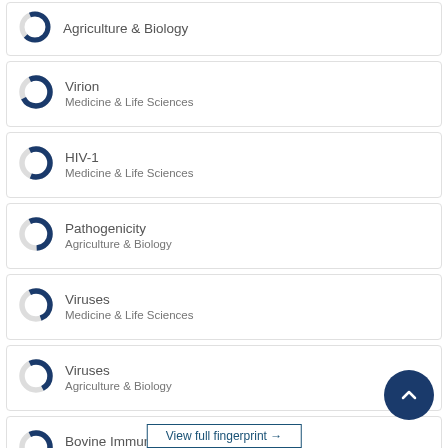Agriculture & Biology (partial top)
Virion — Medicine & Life Sciences
HIV-1 — Medicine & Life Sciences
Pathogenicity — Agriculture & Biology
Viruses — Medicine & Life Sciences
Viruses — Agriculture & Biology
Bovine Immunodeficiency Virus — Medicine & Life Sciences
View full fingerprint →